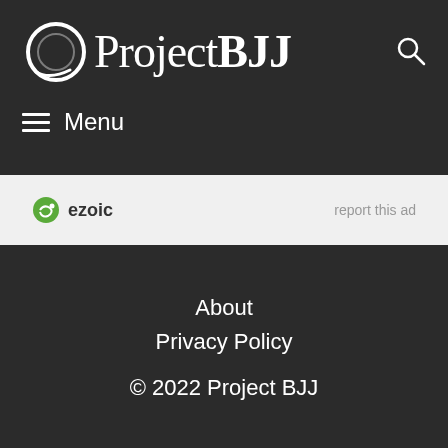Project BJJ
Menu
[Figure (logo): Ezoic logo with circular badge icon and bold 'ezoic' text, accompanied by 'report this ad' link]
About
Privacy Policy
© 2022 Project BJJ